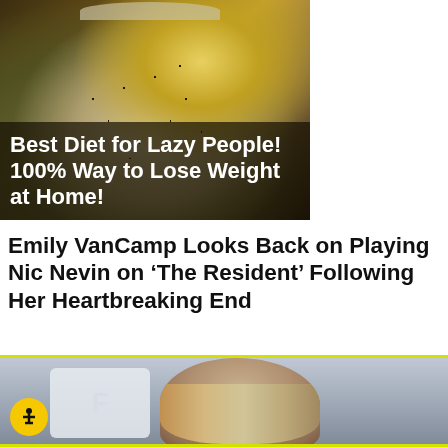[Figure (photo): Advertisement image: a glass jar with chia seed pudding and yellow mango layer, with bold white text overlay reading 'Best Diet for Lazy People! 100% Way to Lose Weight at Home!']
Emily VanCamp Looks Back on Playing Nic Nevin on ‘The Resident’ Following Her Heartbreaking End
[Figure (photo): Partial photo of Emily VanCamp from below chin upward, showing brown/blonde hair. Yellow border top and bottom. Accessibility wheel icon (yellow circle with person icon) visible bottom left.]
[Figure (other): Advertisement banner for BELK: shows denim fashion images on left, brand name BELK in bold, tagline 'Denim all day.' and URL www.belk.com, with navigation arrow on right.]